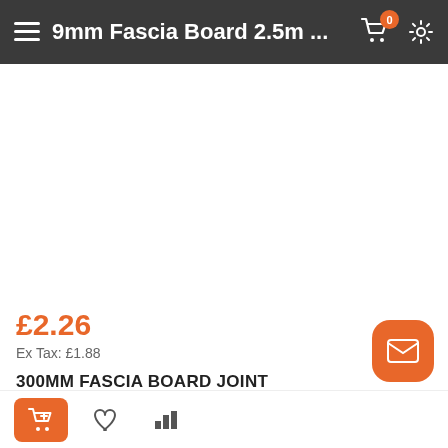9mm Fascia Board 2.5m ...
[Figure (photo): Product image area (white/blank)]
£2.26
Ex Tax: £1.88
300MM FASCIA BOARD JOINT
Description: Fascia Board Joint Dimensions: 300mm long ...